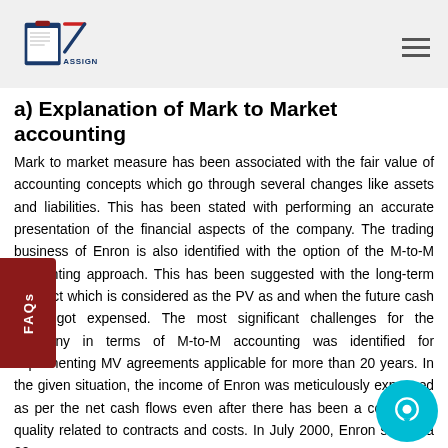OZ Assignments
a) Explanation of Mark to Market accounting
Mark to market measure has been associated with the fair value of accounting concepts which go through several changes like assets and liabilities. This has been stated with performing an accurate presentation of the financial aspects of the company. The trading business of Enron is also identified with the option of the M-to-M accounting approach. This has been suggested with the long-term contract which is considered as the PV as and when the future cash flows got expensed. The most significant challenges for the company in terms of M-to-M accounting was identified for implementing MV agreements applicable for more than 20 years. In the given situation, the income of Enron was meticulously expensed as per the net cash flows even after there has been a concern of quality related to contracts and costs. In July 2000, Enron signed a 20-